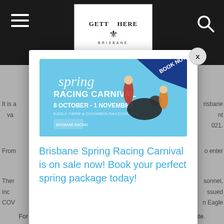[Figure (screenshot): Website header with dark background, hamburger menu icon on left, 'GETTING HERE BRISBANE' logo in white box in center, search icon on right]
[Figure (infographic): Brisbane Spring Racing Carnival advertisement banner: 'spring RACING CARNIVAL 8 OCTOBER - 1 NOVEMBER EAGLE FARM & DOOMBEN RACECOURSE' with BOOK NOW ribbon, showing horse and people in racing attire]
Brisbane Spring Racing Carnival is on sale now! Book your perfect spring package today!
It is a ... Brisbane ... nt va ... 021.
From ... o enter
Ther ... sonnel, inc ... ssued COV ... n Eagle
For further information, please visit the Queensland Health website.